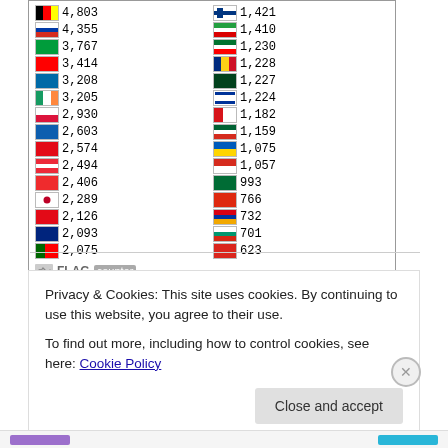[Figure (table-as-image): Flag counter widget showing country flags with visitor counts in two columns. Left column: Belgium 4803, Russia 4355, Brazil 3767, Switzerland 3414, Sweden 3208, Ireland 3205, Poland 2930, Greece 2603, Turkey 2574, Austria 2494, Norway 2406, Japan 2289, Turkey 2126, New Zealand 2093, Portugal 2075. Right column: Finland 1421, Iran 1410, UAE 1230, Romania 1228, Pakistan 1227, Israel 1224, Czech Republic 1182, Algeria 1159, Ukraine 1075, Chile 1057, Saudi Arabia 993, China 766, Armenia 732, Bulgaria 701, Vietnam 623. Footer shows FLAG counter logo.]
Privacy & Cookies: This site uses cookies. By continuing to use this website, you agree to their use. To find out more, including how to control cookies, see here: Cookie Policy
Close and accept